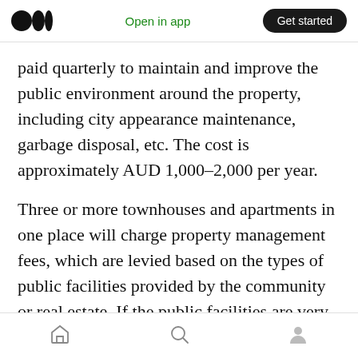Medium app header — logo, Open in app, Get started
paid quarterly to maintain and improve the public environment around the property, including city appearance maintenance, garbage disposal, etc. The cost is approximately AUD 1,000–2,000 per year.
Three or more townhouses and apartments in one place will charge property management fees, which are levied based on the types of public facilities provided by the community or real estate. If the public facilities are very complete, including gyms and swimming pools, the fees will be relatively higher.
Bottom navigation bar — Home, Search, Profile